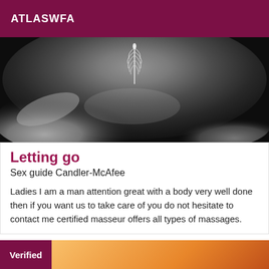ATLASWFA
[Figure (photo): Black and white artistic photo of a person lying down with a white feather hovering above them against a dark background]
Letting go
Sex guide Candler-McAfee
Ladies I am a man attention great with a body very well done then if you want us to take care of you do not hesitate to contact me certified masseur offers all types of massages.
[Figure (photo): Bottom strip showing a warm orange/amber toned image with a 'Verified' badge overlay on the left side]